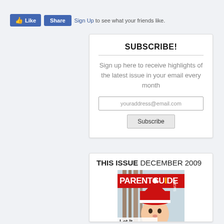[Figure (other): Facebook Like and Share buttons followed by 'Sign Up to see what your friends like.' text]
SUBSCRIBE!
Sign up here to receive highlights of the latest issue in your email every month
youraddress@email.com
Subscribe
THIS ISSUE DECEMBER 2009
[Figure (photo): Parent Guide magazine cover for December 2009 showing a child in a winter hat with text 'Let It Snow']